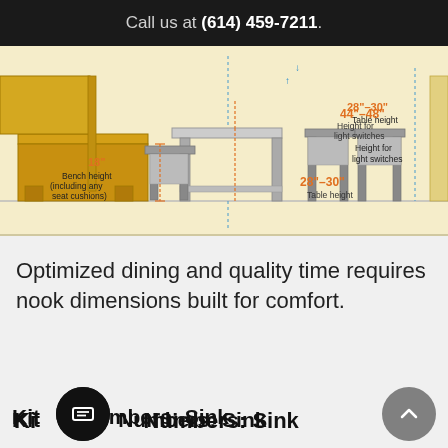Call us at (614) 459-7211.
[Figure (engineering-diagram): Kitchen nook seating diagram showing bench height 18 inches, table height 28"-30", and light switch height 44"-48", with chairs and a table illustrated in yellow and gray tones.]
Optimized dining and quality time requires nook dimensions built for comfort.
Kitchen Numbers: Sink